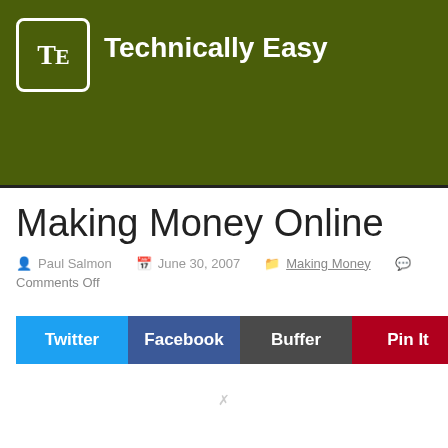Technically Easy
Making Money Online
Paul Salmon  June 30, 2007  Making Money  Comments Off
Twitter
Facebook
Buffer
Pin It